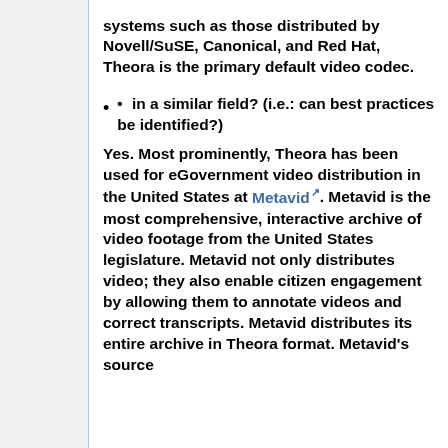systems such as those distributed by Novell/SuSE, Canonical, and Red Hat, Theora is the primary default video codec.
• in a similar field? (i.e.: can best practices be identified?)
Yes. Most prominently, Theora has been used for eGovernment video distribution in the United States at Metavid. Metavid is the most comprehensive, interactive archive of video footage from the United States legislature. Metavid not only distributes video; they also enable citizen engagement by allowing them to annotate videos and correct transcripts. Metavid distributes its entire archive in Theora format. Metavid's source